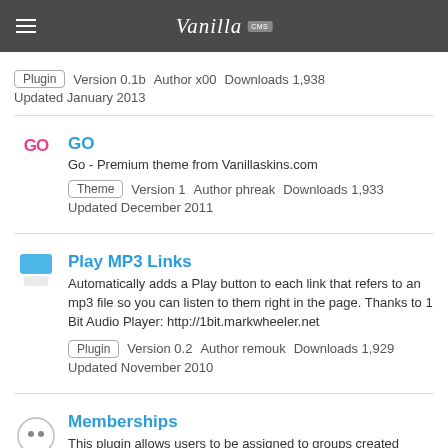Vanilla CMS
Plugin   Version 0.1b   Author x00   Downloads 1,938   Updated January 2013
GO
Go - Premium theme from Vanillaskins.com
Theme   Version 1   Author phreak   Downloads 1,933   Updated December 2011
Play MP3 Links
Automatically adds a Play button to each link that refers to an mp3 file so you can listen to them right in the page. Thanks to 1 Bit Audio Player: http://1bit.markwheeler.net
Plugin   Version 0.2   Author remouk   Downloads 1,929   Updated November 2010
Memberships
This plugin allows users to be assigned to groups created